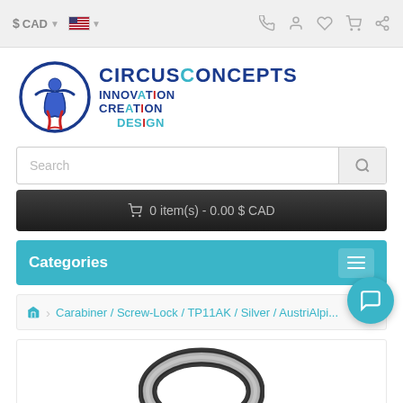$ CAD  [flag]  [phone] [user] [heart] [cart] [share]
[Figure (logo): CircusConcepts logo with circular figure icon and text 'CIRCUSCONCEPTS INNOVATION CREATION DESIGN']
Search
🛒 0 item(s) - 0.00 $ CAD
Categories
Carabiner / Screw-Lock / TP11AK / Silver / AustriAlpi...
[Figure (photo): Partial view of a silver carabiner product]